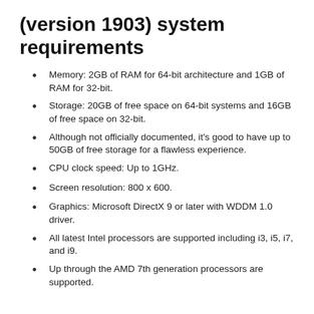(version 1903) system requirements
Memory: 2GB of RAM for 64-bit architecture and 1GB of RAM for 32-bit.
Storage: 20GB of free space on 64-bit systems and 16GB of free space on 32-bit.
Although not officially documented, it's good to have up to 50GB of free storage for a flawless experience.
CPU clock speed: Up to 1GHz.
Screen resolution: 800 x 600.
Graphics: Microsoft DirectX 9 or later with WDDM 1.0 driver.
All latest Intel processors are supported including i3, i5, i7, and i9.
Up through the AMD 7th generation processors are supported.